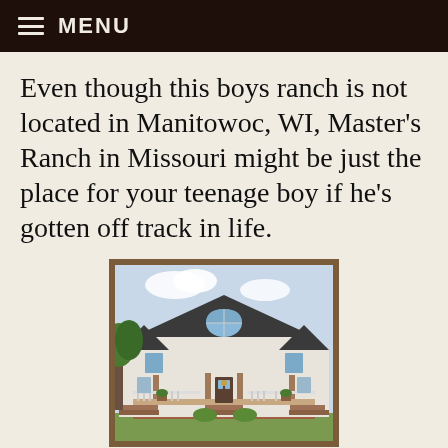MENU
Even though this boys ranch is not located in Manitowoc, WI, Master's Ranch in Missouri might be just the place for your teenage boy if he's gotten off track in life.
[Figure (photo): Exterior photo of a large two-story white house with a covered front porch, brick steps, and a large arched window on the upper level. Trees visible on the left side.]